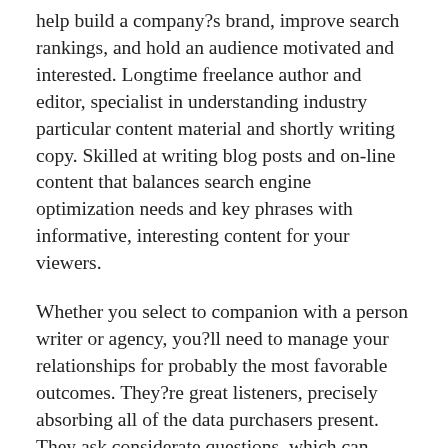help build a company?s brand, improve search rankings, and hold an audience motivated and interested. Longtime freelance author and editor, specialist in understanding industry particular content material and shortly writing copy. Skilled at writing blog posts and on-line content that balances search engine optimization needs and key phrases with informative, interesting content for your viewers.
Whether you select to companion with a person writer or agency, you?ll need to manage your relationships for probably the most favorable outcomes. They?re great listeners, precisely absorbing all of the data purchasers present. They ask considerate questions, which can result in answers that up the value and curiosity ranges of the written content material. You wish to elevate your brand story with highly participating, well-written content material. “The Ghost Writer” is good-looking, smooth and persuasive.
In that 12 months between the pilot and the relaxation